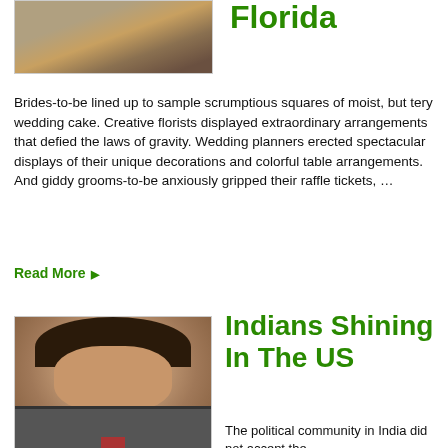[Figure (photo): Photo of people at a wedding expo/fair, crowd in background]
Florida
Brides-to-be lined up to sample scrumptious squares of moist, but tery wedding cake. Creative florists displayed extraordinary arrangements that defied the laws of gravity. Wedding planners erected spectacular displays of their unique decorations and colorful table arrangements. And giddy grooms-to-be anxiously gripped their raffle tickets, …
Read More ▶
[Figure (photo): Portrait photo of a young Indian man in a suit and tie, smiling]
Indians Shining In The US
The political community in India did not accept the